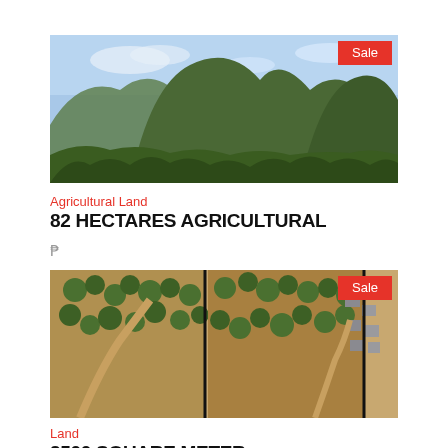[Figure (photo): Aerial/landscape photo of a mountain with green forest, blue sky, with a red 'Sale' badge in the top right corner]
Agricultural Land
82 HECTARES AGRICULTURAL
₱
[Figure (photo): Aerial drone photo showing land parcels divided by black lines, with trees and structures visible, red 'Sale' badge in top right]
Land
2500 SQUARE METER
₱ 2,500,000